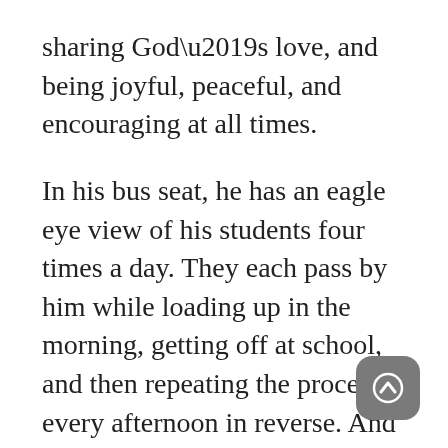sharing God's love, and being joyful, peaceful, and encouraging at all times.
In his bus seat, he has an eagle eye view of his students four times a day. They each pass by him while loading up in the morning, getting off at school, and then repeating the process every afternoon in reverse. And he can sense if one of “his kids” is in trouble.
“When you’re around somebody 180 days out of the year, you can pretty much tell what’s going on with them,” he said. “W the students are coming up those stai coming down the aisle and I’m looking at